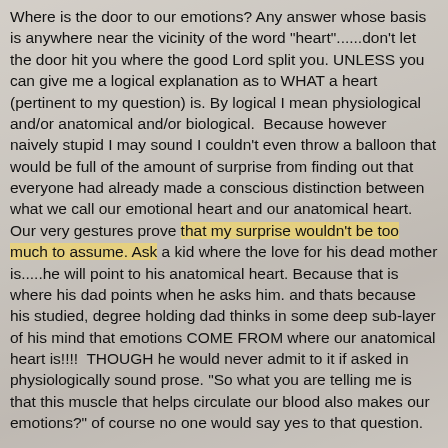Where is the door to our emotions?  Any answer whose basis is anywhere near the vicinity of the word "heart"......don't let the door hit you where the good Lord split you.  UNLESS you can give me a logical explanation as to WHAT a heart (pertinent to my question) is.  By logical I mean physiological and/or anatomical and/or biological.  Because however naively stupid I may sound I couldn't even throw a balloon that would be full of the amount of surprise from finding out that everyone had already made a conscious distinction between what we call our emotional heart and our anatomical heart.  Our very gestures prove that my surprise wouldn't be too much to assume.  Ask a kid where the love for his dead mother is.....he will point to his anatomical heart.  Because that is where his dad points when he asks him.  and thats because his studied, degree holding dad thinks in some deep sub-layer of his mind that emotions COME FROM where our anatomical heart is!!!!  THOUGH he would never admit to it if asked in physiologically sound prose.  "So what you are telling me is that this muscle that helps circulate our blood also makes our emotions?"  of course no one would say yes to that question.